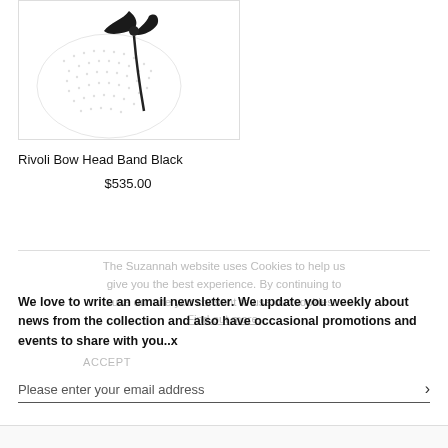[Figure (photo): Product photo of Rivoli Bow Head Band Black — black bow with white netting/veil on white background]
Rivoli Bow Head Band Black
$535.00
The Suzannah website uses Cookies to help us give you the best experience. By continuing to use our site you consent to use our cookies. Find out more.
We love to write an email newsletter. We update you weekly about news from the collection and also have occasional promotions and events to share with you..x
ACCEPT
Please enter your email address